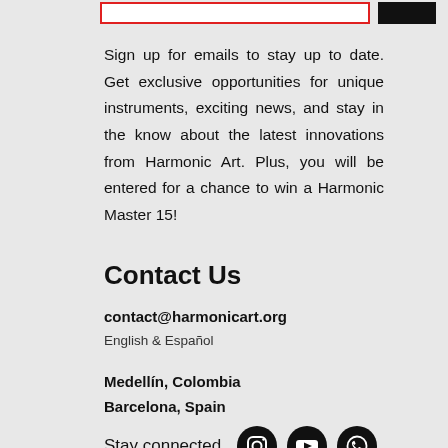[Figure (other): Email signup input box with red border and a black submit button at top]
Sign up for emails to stay up to date. Get exclusive opportunities for unique instruments, exciting news, and stay in the know about the latest innovations from Harmonic Art. Plus, you will be entered for a chance to win a Harmonic Master 15!
Contact Us
contact@harmonicart.org
English & Español
Medellín, Colombia
Barcelona, Spain
Stay connected
[Figure (illustration): Three social media icons (Instagram, YouTube, WhatsApp) as white icons on black circles]